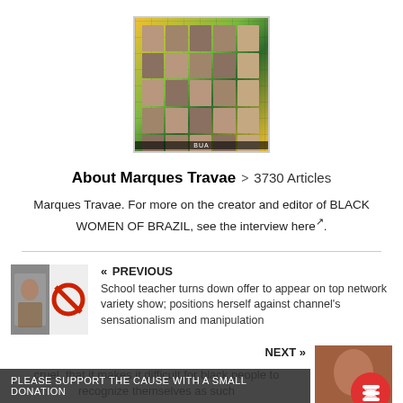[Figure (photo): Grid of portrait photos of Black women arranged in rows, with green and yellow background (Brazilian flag colors). Label 'BUA' at bottom.]
About Marques Travae  >  3730 Articles
Marques Travae. For more on the creator and editor of BLACK WOMEN OF BRAZIL, see the interview here↗.
[Figure (photo): Thumbnail image split: left shows a Black woman, right shows a red circle with prohibition/cancel symbol]
« PREVIOUS
School teacher turns down offer to appear on top network variety show; positions herself against channel's sensationalism and manipulation
NEXT »
[Figure (photo): Thumbnail image of a person, overlaid with a red circle containing a stack/coins icon]
PLEASE SUPPORT THE CAUSE WITH A SMALL DONATION
cruel, that it makes it difficult for black people to recognize themselves as such